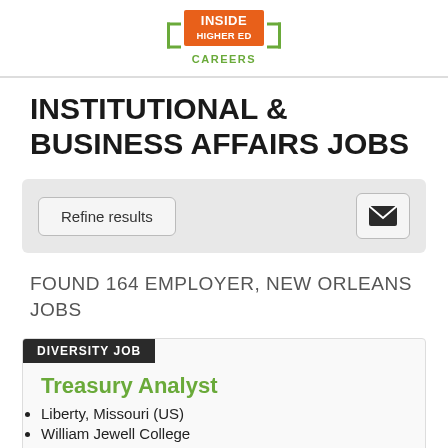[Figure (logo): Inside Higher Ed Careers logo with orange background for INSIDE HIGHER ED text and green bracket design with CAREERS text]
INSTITUTIONAL & BUSINESS AFFAIRS JOBS
Refine results [email icon button]
FOUND 164 EMPLOYER, NEW ORLEANS JOBS
DIVERSITY JOB
Treasury Analyst
Liberty, Missouri (US)
William Jewell College